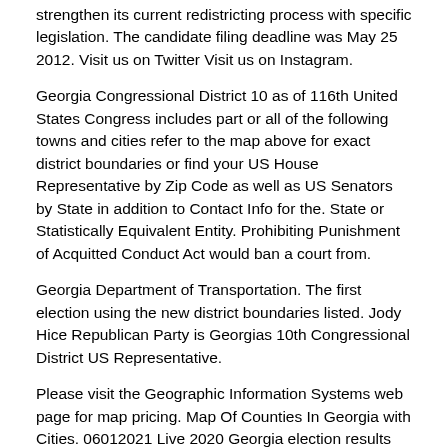strengthen its current redistricting process with specific legislation. The candidate filing deadline was May 25 2012. Visit us on Twitter Visit us on Instagram.
Georgia Congressional District 10 as of 116th United States Congress includes part or all of the following towns and cities refer to the map above for exact district boundaries or find your US House Representative by Zip Code as well as US Senators by State in addition to Contact Info for the. State or Statistically Equivalent Entity. Prohibiting Punishment of Acquitted Conduct Act would ban a court from.
Georgia Department of Transportation. The first election using the new district boundaries listed. Jody Hice Republican Party is Georgias 10th Congressional District US Representative.
Please visit the Geographic Information Systems web page for map pricing. Map Of Counties In Georgia with Cities. 06012021 Live 2020 Georgia election results and maps by country and district.
The CCG Geographic Information Systems Division provides all maps to the Elections. You can also look for some pictures that related to Map of Georgia by scroll down to collection on below this picture. Census Bureau Prepared by the Geography Division.